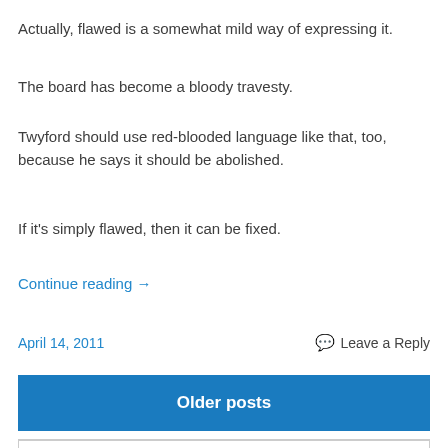Actually, flawed is a somewhat mild way of expressing it.
The board has become a bloody travesty.
Twyford should use red-blooded language like that, too, because he says it should be abolished.
If it's simply flawed, then it can be fixed.
Continue reading →
April 14, 2011
Leave a Reply
Older posts
Search